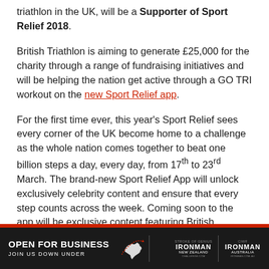triathlon in the UK, will be a Supporter of Sport Relief 2018.
British Triathlon is aiming to generate £25,000 for the charity through a range of fundraising initiatives and will be helping the nation get active through a GO TRI workout on the new Sport Relief app.
For the first time ever, this year's Sport Relief sees every corner of the UK become home to a challenge as the whole nation comes together to beat one billion steps a day, every day, from 17th to 23rd March. The brand-new Sport Relief App will unlock exclusively celebrity content and ensure that every step counts across the week. Coming soon to the app will be exclusive content featuring British Triathlon rising start Olivia Mathias, as she takes on a bespoke workout circuit... Chall...
[Figure (infographic): Black advertisement banner at the bottom: OPEN FOR BUSINESS / JOIN US DOWN UNDER with Australia map icon and IRONMAN New Zealand and IRONMAN Australia logos]